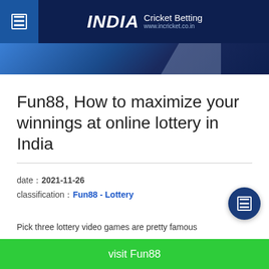INDIA Cricket Betting www.incricket.co.in
[Figure (photo): Partial hero banner image with blue gradient background and a person visible on the right side]
Fun88, How to maximize your winnings at online lottery in India
date：2021-11-26
classification：Fun88 - Lottery
Pick three lottery video games are pretty famous about those video games. They might cross from pillar to